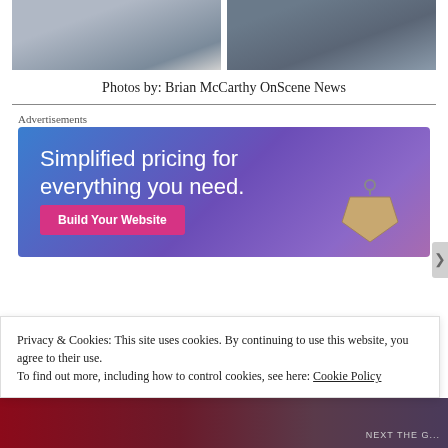[Figure (photo): Two news photos side by side: left shows a silver car on a street scene; right shows people crouching on a sidewalk near police activity]
Photos by: Brian McCarthy OnScene News
[Figure (infographic): Advertisement banner with gradient blue-purple background saying 'Simplified pricing for everything you need.' with a pink 'Build Your Website' button and a price tag image on the right]
Advertisements
Privacy & Cookies: This site uses cookies. By continuing to use this website, you agree to their use.
To find out more, including how to control cookies, see here: Cookie Policy
Close and accept